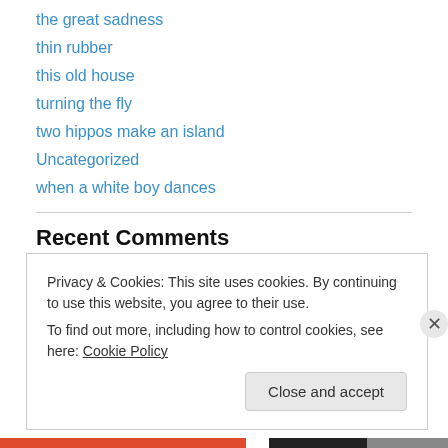the great sadness
thin rubber
this old house
turning the fly
two hippos make an island
Uncategorized
when a white boy dances
Recent Comments
David Baer on Salmo 15: Integridad, un sermó…
Privacy & Cookies: This site uses cookies. By continuing to use this website, you agree to their use.
To find out more, including how to control cookies, see here: Cookie Policy
Close and accept